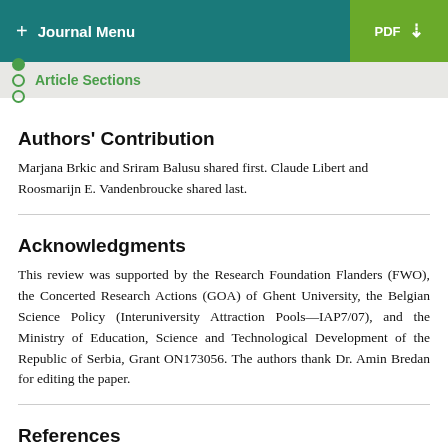+ Journal Menu | PDF
Article Sections
Authors' Contribution
Marjana Brkic and Sriram Balusu shared first. Claude Libert and Roosmarijn E. Vandenbroucke shared last.
Acknowledgments
This review was supported by the Research Foundation Flanders (FWO), the Concerted Research Actions (GOA) of Ghent University, the Belgian Science Policy (Interuniversity Attraction Pools—IAP7/07), and the Ministry of Education, Science and Technological Development of the Republic of Serbia, Grant ON173056. The authors thank Dr. Amin Bredan for editing the paper.
References